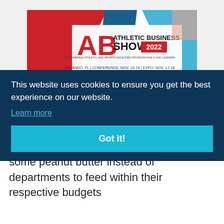[Figure (advertisement): Athletic Business Show 2022 banner ad. Red and blue geometric design with 'AB' logo, text: 'ATHLETIC BUSINESS SHOW 2022', 'ORLANDO, FL | CONFERENCE: NOV. 16-19 | EXPO: NOV. 17-18']
"This is the kind of silliness that consumes the day of the university compliance officer - whether a student-athlete got some peanut butter instead of [cream cheese instead of milk]" — CRSDA [saying] [an] [o it.]
This website uses cookies to ensure you get the best experience on our website.
Learn more
Got it!
[back?] - and departments to feed within their respective budgets